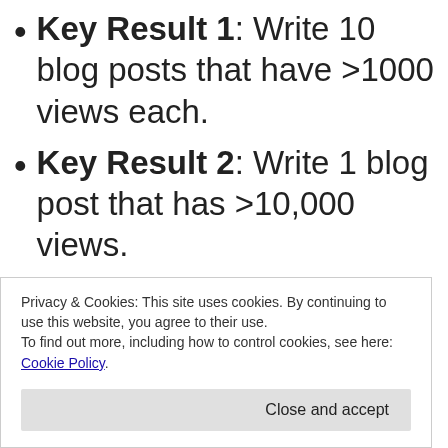Key Result 1: Write 10 blog posts that have >1000 views each.
Key Result 2: Write 1 blog post that has >10,000 views.
Key Result 3: Have >1000 Twitter followers.
Privacy & Cookies: This site uses cookies. By continuing to use this website, you agree to their use. To find out more, including how to control cookies, see here: Cookie Policy
Close and accept